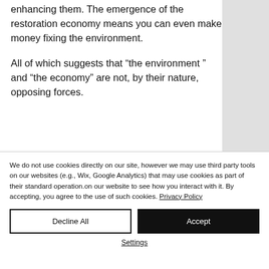enhancing them. The emergence of the restoration economy means you can even make money fixing the environment.
All of which suggests that “the environment ” and “the economy” are not, by their nature, opposing forces.
We do not use cookies directly on our site, however we may use third party tools on our websites (e.g., Wix, Google Analytics) that may use cookies as part of their standard operation.on our website to see how you interact with it. By accepting, you agree to the use of such cookies. Privacy Policy
Decline All
Accept
Settings